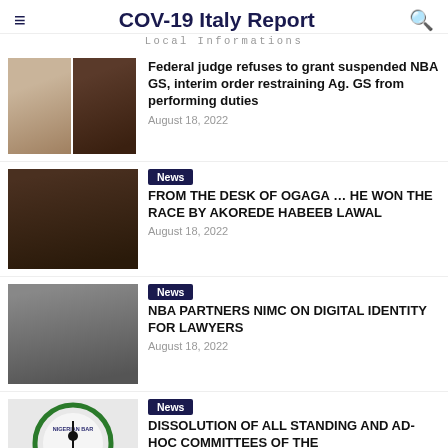COV-19 Italy Report
Local Informations
Federal judge refuses to grant suspended NBA GS, interim order restraining Ag. GS from performing duties
August 18, 2022
News
FROM THE DESK OF OGAGA … HE WON THE RACE BY AKOREDE HABEEB LAWAL
August 18, 2022
News
NBA PARTNERS NIMC ON DIGITAL IDENTITY FOR LAWYERS
August 18, 2022
News
DISSOLUTION OF ALL STANDING AND AD-HOC COMMITTEES OF THE